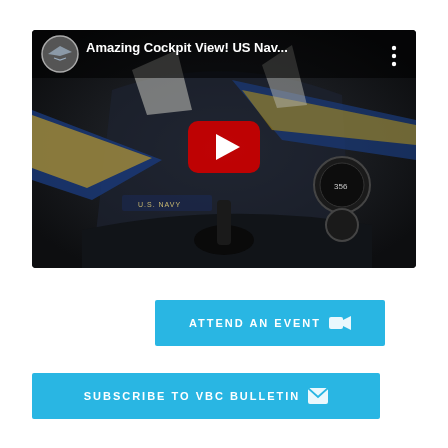[Figure (screenshot): YouTube video thumbnail showing cockpit view of US Navy Blue Angels jets. Title: 'Amazing Cockpit View! US Nav...' with circular avatar thumbnail and three-dot menu icon in dark top bar overlay. Red YouTube play button centered on dark aerial cockpit image.]
ATTEND AN EVENT
SUBSCRIBE TO VBC BULLETIN